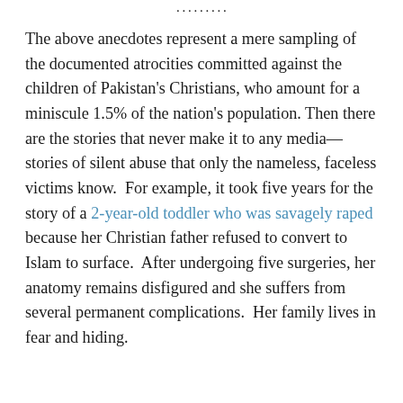The above anecdotes represent a mere sampling of the documented atrocities committed against the children of Pakistan's Christians, who amount for a miniscule 1.5% of the nation's population. Then there are the stories that never make it to any media—stories of silent abuse that only the nameless, faceless victims know. For example, it took five years for the story of a 2-year-old toddler who was savagely raped because her Christian father refused to convert to Islam to surface. After undergoing five surgeries, her anatomy remains disfigured and she suffers from several permanent complications. Her family lives in fear and hiding.